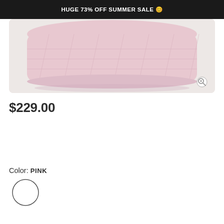HUGE 73% OFF SUMMER SALE 🙂
[Figure (photo): A light pink quilted clutch bag photographed from above on a white/cream background with a zoom icon in the bottom-right corner]
$229.00
Color: PINK
[Figure (other): A circular color swatch with white/light pink fill and dark border representing the pink color option]